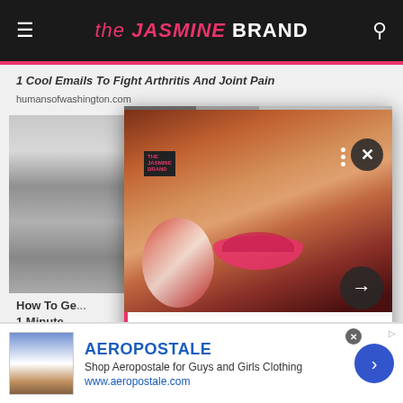the JASMINE BRAND
1 Cool Emails To Fight Arthritis And Joint Pain
humansofwashington.com
[Figure (screenshot): Popup overlay on thejasminebrand.com showing Rihanna with pink lips and Fenty Beauty article]
Rihanna's Fenty Beauty Collaborates W/ Art Collective To Release Ketchup Lip Gloss...
How To Ge... 1 Minute
[Figure (screenshot): Aeropostale advertisement banner at bottom of page]
AEROPOSTALE
Shop Aeropostale for Guys and Girls Clothing
www.aeropostale.com